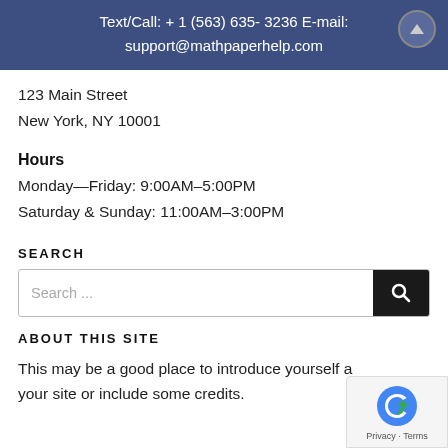Text/Call: + 1 (563) 635- 3236 E-mail: support@mathpaperhelp.com
123 Main Street
New York, NY 10001
Hours
Monday—Friday: 9:00AM–5:00PM
Saturday & Sunday: 11:00AM–3:00PM
SEARCH
Search ...
ABOUT THIS SITE
This may be a good place to introduce yourself a your site or include some credits.